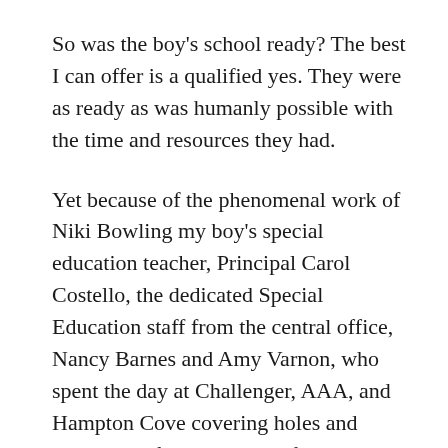So was the boy's school ready? The best I can offer is a qualified yes. They were as ready as was humanly possible with the time and resources they had.
Yet because of the phenomenal work of Niki Bowling my boy's special education teacher, Principal Carol Costello, the dedicated Special Education staff from the central office, Nancy Barnes and Amy Varnon, who spent the day at Challenger, AAA, and Hampton Cove covering holes and putting out fires, and three fantastic aides who were running like crazy to keep up with a huge class, Deborah Chavers, Kim Collins, and Jennifer Lewis, the first day went off without incident.